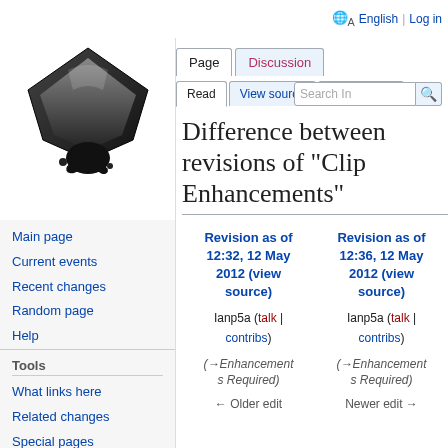[Figure (logo): Inkscape logo - black ink drop on white background]
Main page
Current events
Recent changes
Random page
Help
Tools
What links here
Related changes
Special pages
Printable version
Permanent link
Page information
Cite this page
🌐A English  Log in
Difference between revisions of "Clip Enhancements"
| Revision as of 12:32, 12 May 2012 (view source) | Revision as of 12:36, 12 May 2012 (view source) |
| --- | --- |
| Ianp5a (talk | contribs) | Ianp5a (talk | contribs) |
| (→Enhancements Required) | (→Enhancements Required) |
| ← Older edit | Newer edit → |